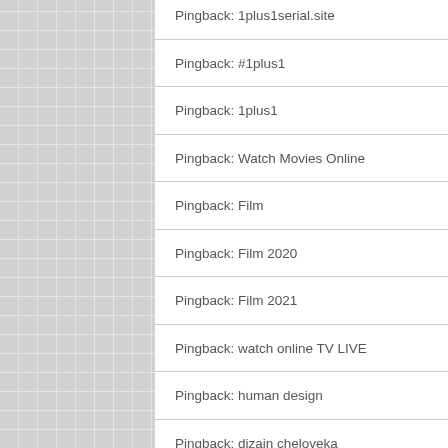Pingback: 1plus1serial.site
Pingback: #1plus1
Pingback: 1plus1
Pingback: Watch Movies Online
Pingback: Film
Pingback: Film 2020
Pingback: Film 2021
Pingback: watch online TV LIVE
Pingback: human design
Pingback: dizajn cheloveka